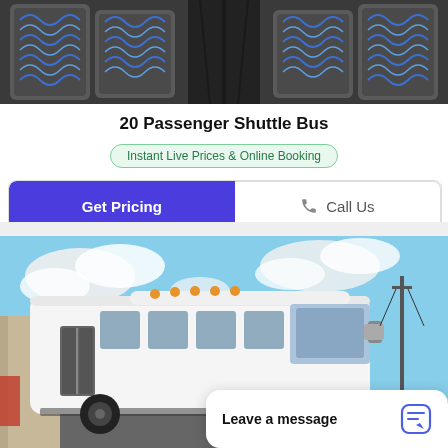[Figure (photo): Interior of a shuttle bus showing rows of grey seats with blue wave pattern fabric]
20 Passenger Shuttle Bus
Instant Live Prices & Online Booking
Get Pricing
Call Us
[Figure (photo): Exterior of a large white shuttle bus parked outdoors with blue sky and clouds in the background]
Leave a message